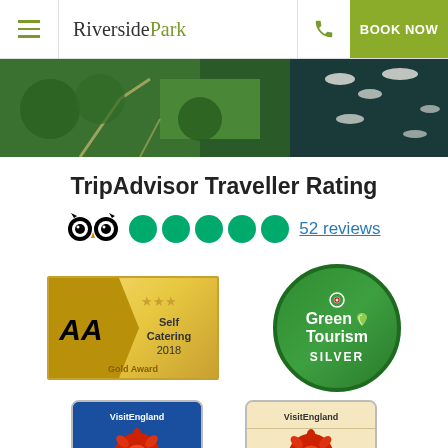RiversidePark — BOOK NOW
[Figure (photo): Aerial view of Riverside Park showing green grounds and river with boats]
TripAdvisor Traveller Rating
[Figure (infographic): TripAdvisor logo with 5 green circles rating and '52 reviews' link]
[Figure (logo): AA 3-star Self Catering 2018 Gold Award badge]
[Figure (logo): Green Tourism Silver badge]
[Figure (logo): VisitEngland badge (blue background) partially visible]
[Figure (logo): VisitEngland badge (cream background) partially visible]